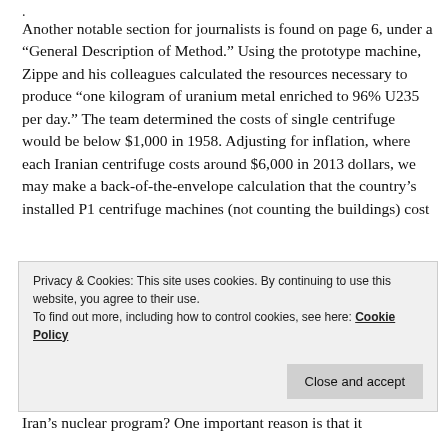. Another notable section for journalists is found on page 6, under a “General Description of Method.” Using the prototype machine, Zippe and his colleagues calculated the resources necessary to produce “one kilogram of uranium metal enriched to 96% U235 per day.” The team determined the costs of single centrifuge would be below $1,000 in 1958. Adjusting for inflation, where each Iranian centrifuge costs around $6,000 in 2013 dollars, we may make a back-of-the-envelope calculation that the country’s installed P1 centrifuge machines (not counting the buildings) cost
Privacy & Cookies: This site uses cookies. By continuing to use this website, you agree to their use. To find out more, including how to control cookies, see here: Cookie Policy
Iran’s nuclear program? One important reason is that it